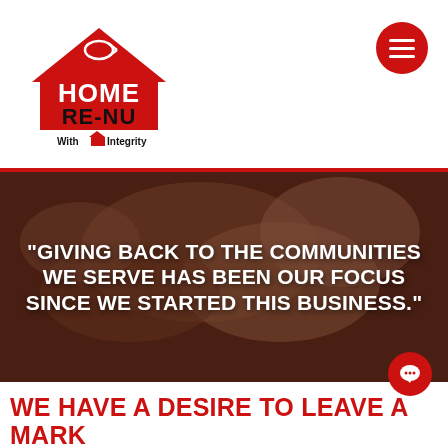[Figure (logo): Home Re-Nu LLC logo: red house/roof shape with a fish symbol on top, text HOME in white on red, RE-NU in bold black, LLC underline, With house-icon Integrity tagline]
[Figure (other): Red circular hamburger menu button with three white horizontal lines]
[Figure (photo): Background photo of hands (community/prayer/togetherness theme) with dark overlay]
“GIVING BACK TO THE COMMUNITIES WE SERVE HAS BEEN OUR FOCUS SINCE WE STARTED THIS BUSINESS.”
[Figure (other): Red circular chat bubble icon button]
WE HAVE A DESIRE TO LEAVE A MARK